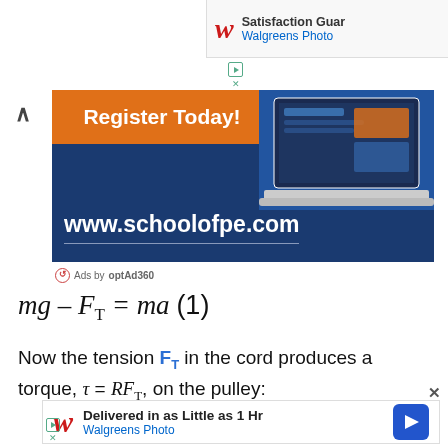[Figure (screenshot): Walgreens Photo ad banner top right: 'Satisfaction Guar... Walgreens Photo' with logo]
[Figure (screenshot): School of PE banner ad: 'Register Today!' in orange, laptop graphic, www.schoolofpe.com on blue background]
Ads by optAd360
Now the tension F_T in the cord produces a torque, τ = RF_T, on the pulley:
[Figure (screenshot): Walgreens Photo bottom ad: 'Delivered in as Little as 1 Hr, Walgreens Photo' with logo and navigation icon]